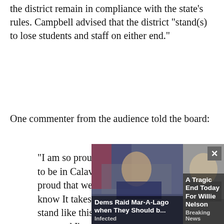the district remain in compliance with the state’s rules. Campbell advised that the district “stand(s) to lose students and staff on either end.”
One commenter from the audience told the board:
“I am so proud of you guys. I am so proud to be in Calaveras County, and I am so proud that we are united. I’m so proud. I know It takes a lot of courage to take a stand like this. I’m so proud of each one of you, and I’m
[Figure (screenshot): An advertisement overlay showing two panels: left panel with photo of a man at a desk (Dems Raid Mar-A-Lago when They Should b... / Infected), right panel with photo of an elderly man (A Tragic End Today For Willie Nelson / Breaking News), and a close button (x).]